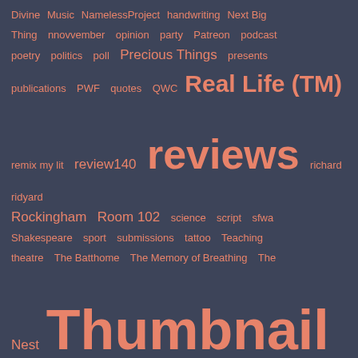[Figure (other): Tag cloud on dark blue-grey background with salmon/coral colored tags in various font sizes. Tags include: Divine, Music, NamelessProject, handwriting, Next Big Thing, nnovvember, opinion, party, Patreon, podcast, poetry, politics, poll, Precious Things, presents, publications, PWF, quotes, QWC, Real Life (TM), remix my lit, review140, reviews, richard ridyard, Rockingham, Room 102, science, script, sfwa, Shakespeare, sport, submissions, tattoo, Teaching, theatre, The Batthome, The Memory of Breathing, The Nest, Thumbnail Thursday, travel, treacherous carrots, TV, twitter, Uncategorized, valentine's day, webcomics, Website, weight, work, Work in Progress, workshops, Write Club, writers festival, writing, Writing The SF Short Story Course, Year's Best, year in review, youtube]